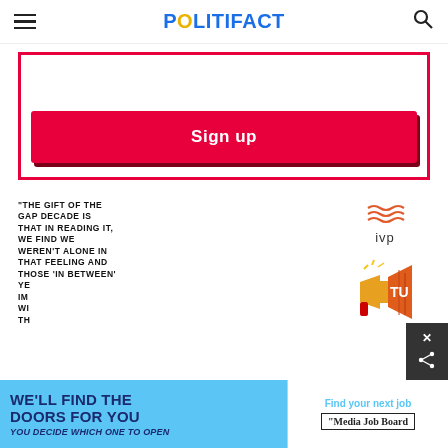POLITIFACT
[Figure (screenshot): Sign up button inside a red-bordered box, part of a newsletter signup widget]
[Figure (screenshot): Advertisement section: IVP logo with wave lines, quote text 'THE GIFT OF THE GAP DECADE IS THAT IN READING IT, WE FIND WE WEREN'T ALONE IN THAT FEELING AND THOSE IN BETWEEN YEARS...' alongside colorful megaphone/book illustration]
[Figure (screenshot): Bottom banner ad: 'WE'LL FIND THE DOORS FOR YOU - You decide which one to open' on blue background, and 'Find your next job - Media Job Board' on white background on right]